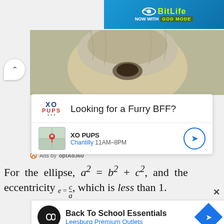[Figure (screenshot): BitLife NOW WITH GOD MODE advertisement banner at top right]
[Figure (photo): Close-up photo of a fluffy dog face]
[Figure (screenshot): XO Pups ad card: Looking for a Furry BFF? XO PUPS Chantilly 11AM-8PM with map thumbnail and navigation arrow]
Ads by optAd360
For the ellipse, a² = b² + c², and the eccentricity e = c/a, which is less than 1.
[Figure (screenshot): Back To School Essentials - Leesburg Premium Outlets advertisement card with infinity logo]